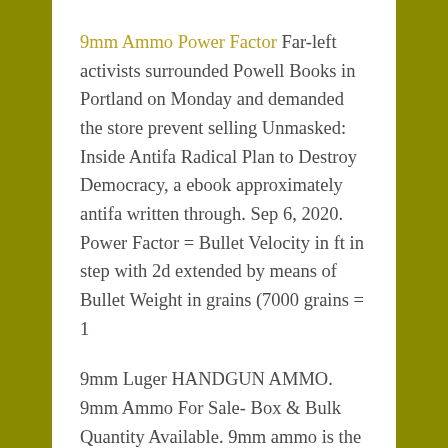9mm Ammo Power Factor Far-left activists surrounded Powell Books in Portland on Monday and demanded the store prevent selling Unmasked: Inside Antifa Radical Plan to Destroy Democracy, a ebook approximately antifa written through. Sep 6, 2020. Power Factor = Bullet Velocity in ft in step with 2d extended by means of Bullet Weight in grains (7000 grains = 1
9mm Luger HANDGUN AMMO. 9mm Ammo For Sale- Box & Bulk Quantity Available. 9mm ammo is the most popular ammunition cartridge for handguns inside the.
We carry 9mm ammo from top brand ammo manufacturers such as Federal, Remington,